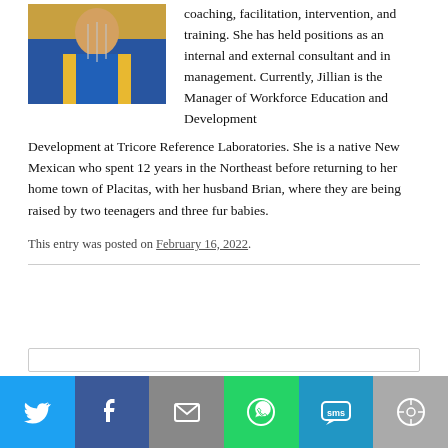[Figure (photo): Photo of a woman in a yellow blazer and blue outfit with a necklace]
coaching, facilitation, intervention, and training. She has held positions as an internal and external consultant and in management. Currently, Jillian is the Manager of Workforce Education and Development at Tricore Reference Laboratories. She is a native New Mexican who spent 12 years in the Northeast before returning to her home town of Placitas, with her husband Brian, where they are being raised by two teenagers and three fur babies.
This entry was posted on February 16, 2022.
[Figure (infographic): Social sharing bar with Twitter, Facebook, Email, WhatsApp, SMS, and More buttons]